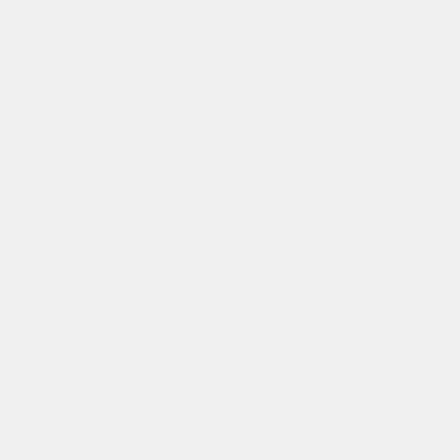Typical Serving Amount : 1 large (2-1/2...
3.01 ug    47.36 kcal(2%)
Other Serving Size : 1 medium (2-1/4 d...
2.35 ug    37 kcal(2%)
Other Serving Size : 1 small (1-1/2 dia)
1.88 ug    29.6 kcal(1%)
20. Pears, asian, raw - Vitamin K
4.5 ug of Vitamin K per 100g
Nutritional Value = 16 / 100    Food Categ...
Vitamin K (%RDA)    Calories (%RDA)
Content for a 100g serving :
4.5 ug    42(2%)
Typical Serving Amount : 1 fruit 2-1/4 h...
5.49 ug    51.24 kcal(3%)
Other Serving Size : 1 fruit 3-3/8 high x...
12.38 ug    115.5 kcal(6%)
21. Pears, raw - Vitamin K
4.4 ug of Vitamin K per 100g
Nutritional Value = 16 / 100    Food Categ...
Vitamin K (%RDA)    Calories (%RDA)
Content for a 100g serving :
4.4 ug    57(3%)
Typical Serving Amount : 1 small (or 1...
6.51 ug    84.36 kcal(4%)